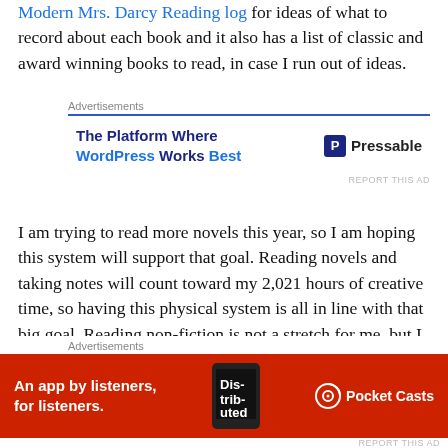Modern Mrs. Darcy Reading log for ideas of what to record about each book and it also has a list of classic and award winning books to read, in case I run out of ideas.
[Figure (screenshot): Advertisement banner for Pressable: 'The Platform Where WordPress Works Best' with Pressable logo and blue top border]
I am trying to read more novels this year, so I am hoping this system will support that goal. Reading novels and taking notes will count toward my 2,021 hours of creative time, so having this physical system is all in line with that big goal. Reading non-fiction is not a stretch for me, but I will try to keep the ratio to 2 fiction to 1 non-fiction this year. But won't stress if I don't. I log my daily Ray
[Figure (screenshot): Advertisement banner for Pocket Casts: 'An app by listeners, for listeners.' on a red background with Pocket Casts logo]